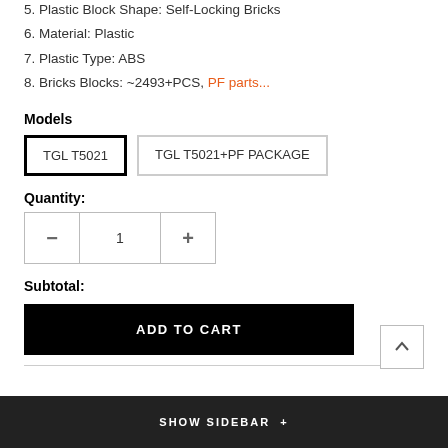5. Plastic Block Shape: Self-Locking Bricks
6. Material: Plastic
7. Plastic Type: ABS
8. Bricks Blocks: ~2493+PCS, PF parts...
Models
TGL T5021 | TGL T5021+PF PACKAGE
Quantity:
1
Subtotal:
ADD TO CART
SHOW SIDEBAR +